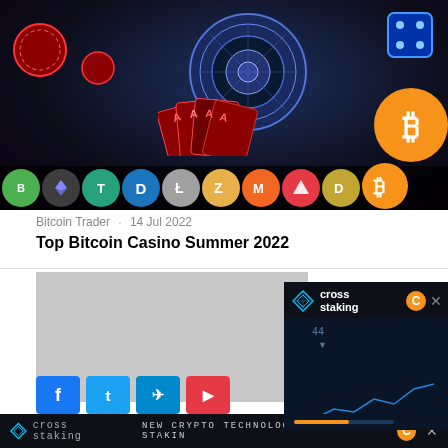[Figure (photo): Casino themed hero image with glowing neon roulette wheel, playing cards (four aces), poker chips, and cryptocurrency logo icons strip at bottom including Bitcoin, Ethereum, Tether, Dash, Litecoin, Zcash, Monero, Tron, Dogecoin, Bitcoin (large).]
Bitcoin Trader   14 Jul 2022
Top Bitcoin Casino Summer 2022
[Figure (screenshot): Partially visible second article card with grey placeholder image and social sharing buttons (Facebook, Twitter, Telegram, YouTube) partially visible. Cross staking advertisement popup overlaid on right side showing 'cross staking' brand with orange C badge and chart. Bottom ad bar shows 'cross staking' logo and ticker 'NEW CRYPTO TECHNOLOGY: CROSS STAKING' with orange C badge and close button.]